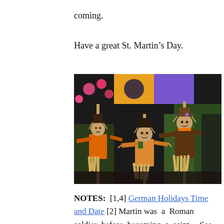coming.
Have a great St. Martin’s Day.
[Figure (photo): Four scarecrow figures on poles dressed in colorful straw costumes with hats, set against a background of flowers and plants at what appears to be a market or outdoor display.]
NOTES: [1,4] German Holidays Time and Date [2] Martin was a Roman soldier before becoming a saint… See